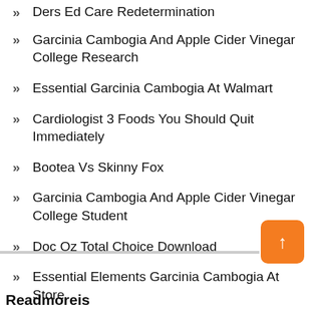Ders Ed Care Redetermination
Garcinia Cambogia And Apple Cider Vinegar College Research
Essential Garcinia Cambogia At Walmart
Cardiologist 3 Foods You Should Quit Immediately
Bootea Vs Skinny Fox
Garcinia Cambogia And Apple Cider Vinegar College Student
Doc Oz Total Choice Download
Essential Elements Garcinia Cambogia At Store
Directions On How To Take Thrive
Readmoreis